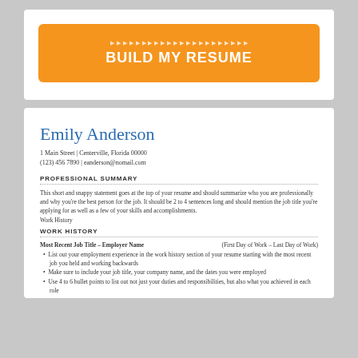[Figure (other): Orange button with text BUILD MY RESUME]
Emily Anderson
1 Main Street | Centerville, Florida 00000
(123) 456 7890 | eanderson@nomail.com
PROFESSIONAL SUMMARY
This short and snappy statement goes at the top of your resume and should summarize who you are professionally and why you're the best person for the job. It should be 2 to 4 sentences long and should mention the job title you're applying for as well as a few of your skills and accomplishments.
Work History
WORK HISTORY
Most Recent Job Title – Employer Name	(First Day of Work – Last Day of Work)
List out your employment experience in the work history section of your resume starting with the most recent job you held and working backwards
Make sure to include your job title, your company name, and the dates you were employed
Use 4 to 6 bullet points to list out not just your duties and responsibilities, but also what you achieved in each role